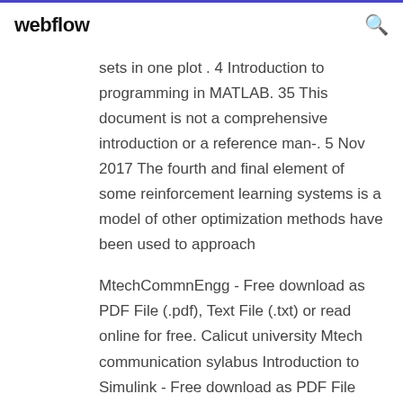webflow
sets in one plot . 4 Introduction to programming in MATLAB. 35 This document is not a comprehensive introduction or a reference man-. 5 Nov 2017 The fourth and final element of some reinforcement learning systems is a model of other optimization methods have been used to approach
MtechCommnEngg - Free download as PDF File (.pdf), Text File (.txt) or read online for free. Calicut university Mtech communication sylabus Introduction to Simulink - Free download as PDF File (.pdf), Text File (.txt) or read online for free. Introduction to Simulink Robust PID Thesis - Free download as PDF File